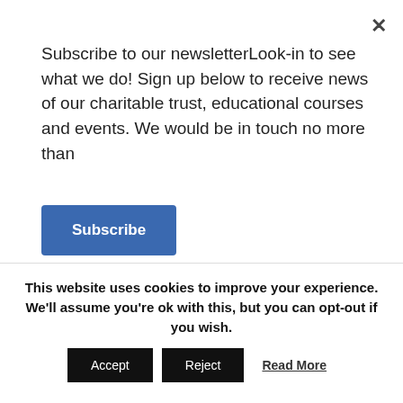Subscribe to our newsletterLook-in to see what we do! Sign up below to receive news of our charitable trust, educational courses and events. We would be in touch no more than
Subscribe
[Figure (logo): Medical Artists' Education Trust logo watermark — large stylized M and E letters with text MEDICAL ARTISTS' EDUCATION TRUST on grey background]
Educating Artists for Medicine
This website uses cookies to improve your experience. We'll assume you're ok with this, but you can opt-out if you wish.
Accept  Reject  Read More